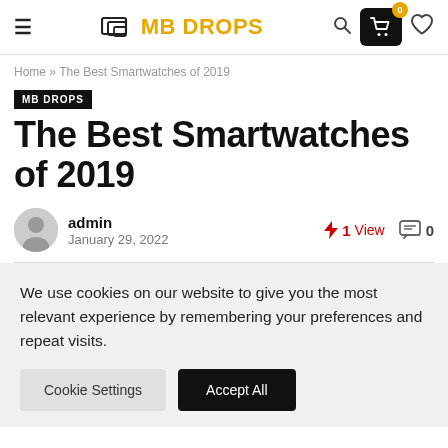MB DROPS — site navigation header with logo, search, cart (0), and heart icons
Home » The Best Smartwatches of 2019
MB DROPS
The Best Smartwatches of 2019
admin — January 29, 2022 — 1 View — 0 comments
We use cookies on our website to give you the most relevant experience by remembering your preferences and repeat visits.